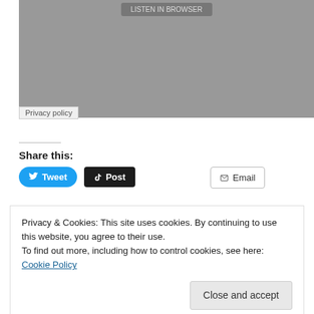[Figure (screenshot): Gray placeholder image area with a partially visible button at top and a Privacy policy label at bottom-left]
Privacy policy
Share this:
[Figure (screenshot): Tweet button (blue, rounded), Post button (dark, rounded), Email button (outlined)]
Privacy & Cookies: This site uses cookies. By continuing to use this website, you agree to their use.
To find out more, including how to control cookies, see here: Cookie Policy
Close and accept